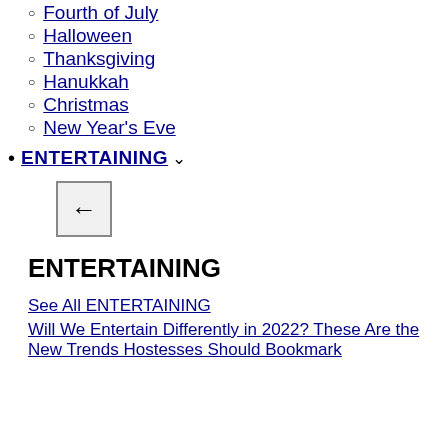Fourth of July
Halloween
Thanksgiving
Hanukkah
Christmas
New Year's Eve
ENTERTAINING
[Figure (other): Back arrow button (left-pointing arrow in a bordered box)]
ENTERTAINING
See All ENTERTAINING
Will We Entertain Differently in 2022? These Are the New Trends Hostesses Should Bookmark